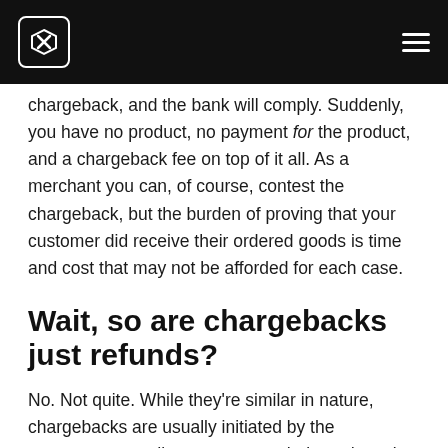chargeback, and the bank will comply. Suddenly, you have no product, no payment for the product, and a chargeback fee on top of it all. As a merchant you can, of course, contest the chargeback, but the burden of proving that your customer did receive their ordered goods is time and cost that may not be afforded for each case.
Wait, so are chargebacks just refunds?
No. Not quite. While they're similar in nature, chargebacks are usually initiated by the consumer, as a direct request to their card service provider. In